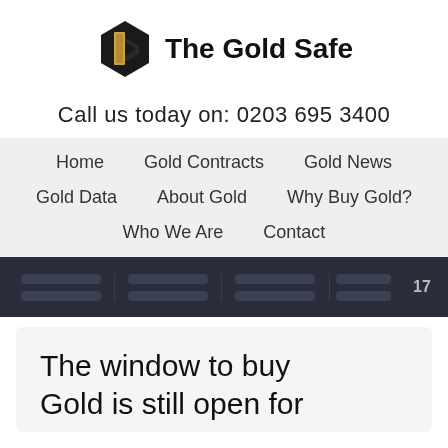[Figure (logo): The Gold Safe logo with hexagonal G icon in gold and black, and text 'The Gold Safe' in bold black]
Call us today on: 0203 695 3400
Home
Gold Contracts
Gold News
Gold Data
About Gold
Why Buy Gold?
Who We Are
Contact
[Figure (screenshot): TradingView ticker bar with dark background showing 4 ticker placeholder sections with grey loading bars and TV logo]
The window to buy Gold is still open for